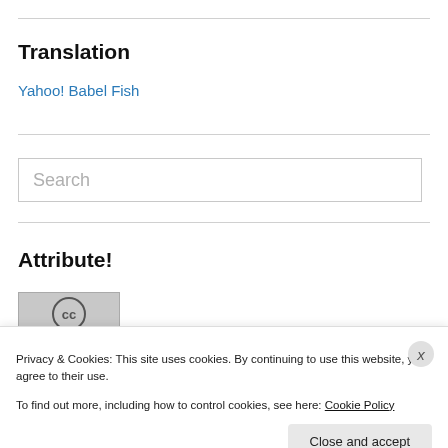Translation
Yahoo! Babel Fish
Search
Attribute!
[Figure (logo): Creative Commons CC badge icon]
Privacy & Cookies: This site uses cookies. By continuing to use this website, you agree to their use.
To find out more, including how to control cookies, see here: Cookie Policy
Close and accept